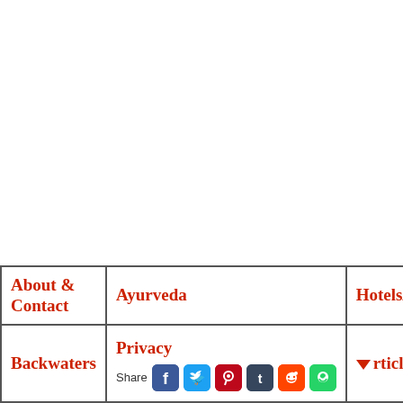| About & Contact | Ayurveda | Hotels/Flights |
| Backwaters | Privacy
[Share icons] | Articles |